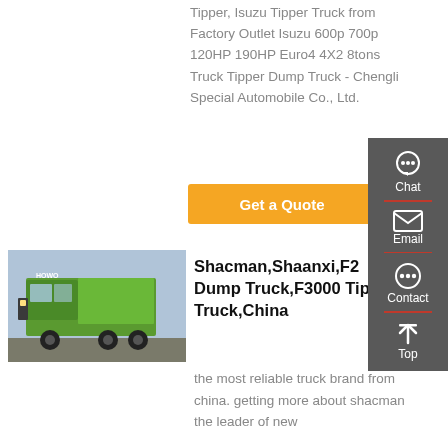Tipper, Isuzu Tipper Truck from Factory Outlet Isuzu 600p 700p 120HP 190HP Euro4 4X2 8tons Truck Tipper Dump Truck - Chengli Special Automobile Co., Ltd.
Get a Quote
[Figure (photo): Green Shacman/HOWO heavy dump/tipper truck parked outdoors]
Shacman,Shaanxi,F2 Dump Truck,F3000 Tipper Truck,China
the most reliable truck brand from china. getting more about shacman the leader of new